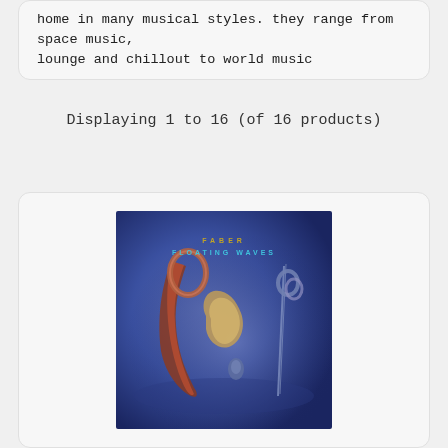home in many musical styles. they range from space music, lounge and chillout to world music
Displaying 1 to 16 (of 16 products)
[Figure (photo): Album cover for FABER - FLOATING WAVES, showing abstract metallic sculptural objects on a blue background]